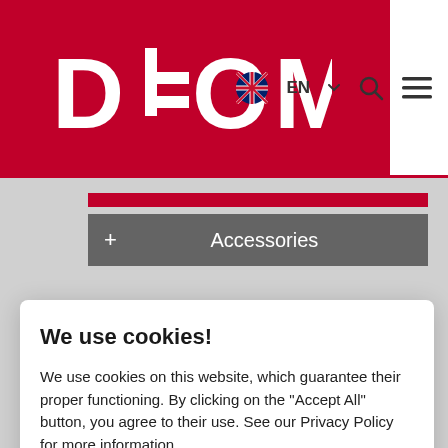[Figure (logo): DEOM logo in white text on red background]
EN  [search icon]  [menu icon]
+ Accessories
We use cookies!
We use cookies on this website, which guarantee their proper functioning. By clicking on the "Accept All" button, you agree to their use. See our Privacy Policy for more information.
Accept All
Cookie settings